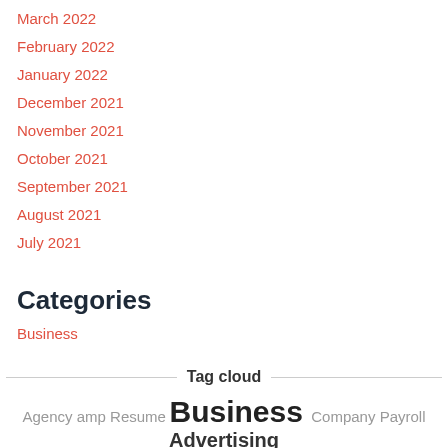March 2022
February 2022
January 2022
December 2021
November 2021
October 2021
September 2021
August 2021
July 2021
Categories
Business
Tag cloud
Agency amp Resume Business Company Payroll Advertising